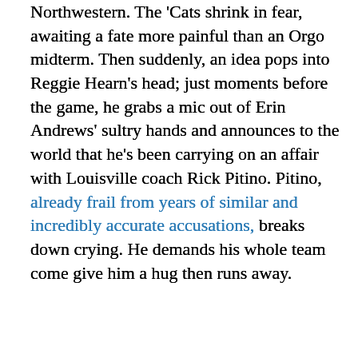Northwestern. The 'Cats shrink in fear, awaiting a fate more painful than an Orgo midterm. Then suddenly, an idea pops into Reggie Hearn's head; just moments before the game, he grabs a mic out of Erin Andrews' sultry hands and announces to the world that he's been carrying on an affair with Louisville coach Rick Pitino. Pitino, already frail from years of similar and incredibly accurate accusations, breaks down crying. He demands his whole team come give him a hug then runs away.
[Figure (other): Advertisement banner: Longreads logo with tagline 'Bringing you the best stories on the web since 2009.']
With no coach, Louisville struggles to stand up and breathe. Given literally hundreds of chances at an open layup, Luka Mirkovic sinks one at the buzzer for another 2-0 victory. With his bucket, the 'Cats are into the Final Four!